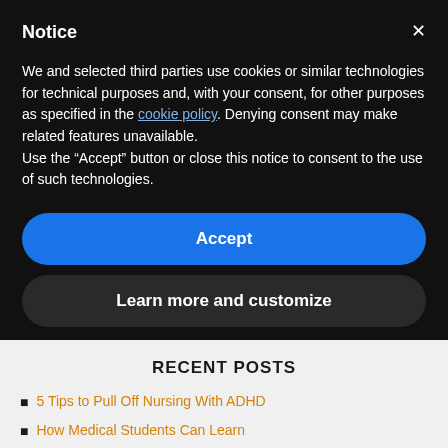Notice
We and selected third parties use cookies or similar technologies for technical purposes and, with your consent, for other purposes as specified in the cookie policy. Denying consent may make related features unavailable.
Use the “Accept” button or close this notice to consent to the use of such technologies.
Accept
Learn more and customize
RECENT POSTS
5 Tips to Pull Off Nursing With ADHD
How Medical Students Can Learn